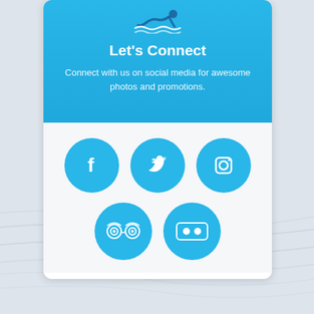Let's Connect
Connect with us on social media for awesome photos and promotions.
[Figure (infographic): Five social media icon circles (Facebook, Twitter, Instagram, TripAdvisor, Flickr) in cyan blue on a white card background, arranged in two rows: three on top, two on bottom.]